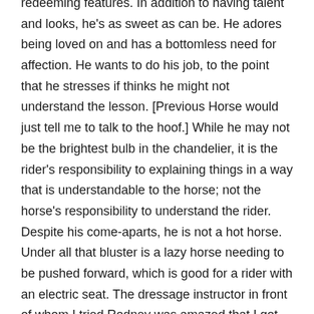Despite my thinking, I do recognize Rodney's many redeeming features. In addition to having talent and looks, he's as sweet as can be. He adores being loved on and has a bottomless need for affection. He wants to do his job, to the point that he stresses if thinks he might not understand the lesson. [Previous Horse would just tell me to talk to the hoof.] While he may not be the brightest bulb in the chandelier, it is the rider's responsibility to explaining things in a way that is understandable to the horse; not the horse's responsibility to understand the rider. Despite his come-aparts, he is not a hot horse. Under all that bluster is a lazy horse needing to be pushed forward, which is good for a rider with an electric seat. The dressage instructor in front of whom I tried Rodney was amazed that I got so much out of him without carrying/wearing standard dressage aids.